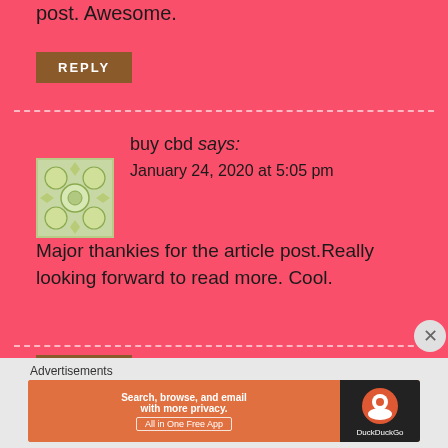post. Awesome.
REPLY
buy cbd says:
January 24, 2020 at 5:05 pm
Major thankies for the article post.Really looking forward to read more. Cool.
REPLY
Advertisements
[Figure (screenshot): DuckDuckGo advertisement banner: 'Search, browse, and email with more privacy. All in One Free App' with DuckDuckGo logo on dark background]